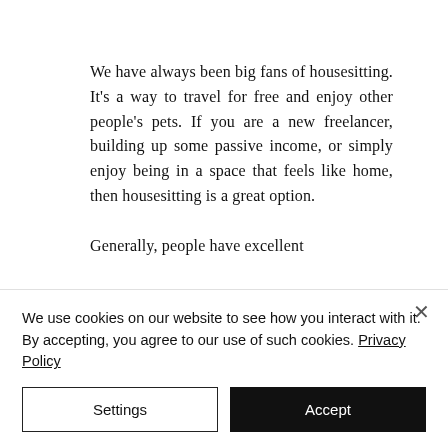We have always been big fans of housesitting. It's a way to travel for free and enjoy other people's pets. If you are a new freelancer, building up some passive income, or simply enjoy being in a space that feels like home, then housesitting is a great option.

Generally, people have excellent
We use cookies on our website to see how you interact with it. By accepting, you agree to our use of such cookies. Privacy Policy